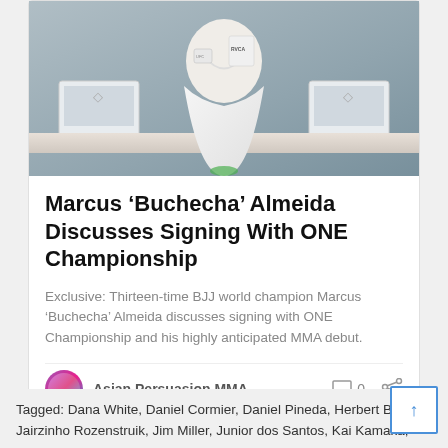[Figure (photo): Marcus 'Buchecha' Almeida wearing a white BJJ gi with RVCA branding, seated at a desk with Apple monitors visible in the background]
Marcus ‘Buchecha’ Almeida Discusses Signing With ONE Championship
Exclusive: Thirteen-time BJJ world champion Marcus ‘Buchecha’ Almeida discusses signing with ONE Championship and his highly anticipated MMA debut.
Asian Persuasion MMA  0
Tagged: Dana White, Daniel Cormier, Daniel Pineda, Herbert Burns, Jairzinho Rozenstruik, Jim Miller, Junior dos Santos, Kai Kamaka,